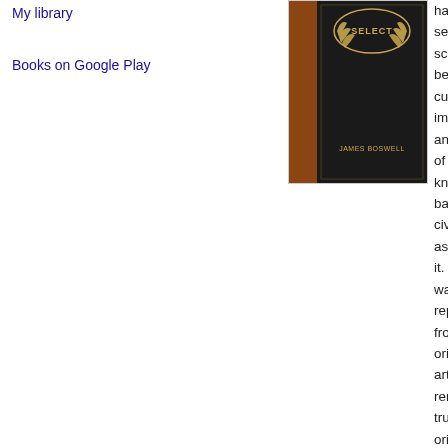My library
Books on Google Play
[Figure (photo): Book cover with dark background, gold laurel wreath and SELECT text at top, author name JAMES BOSWELL at bottom]
has been selected by scholars as being culturally important and is part of the knowledge base of civilization as we know it. This was reproduced from the original artifact, remains true to the original work as possible. Therefore